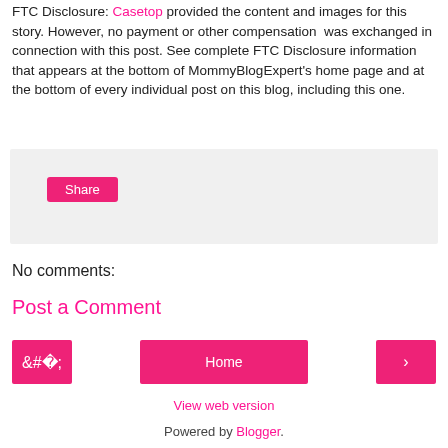FTC Disclosure: Casetop provided the content and images for this story. However, no payment or other compensation was exchanged in connection with this post. See complete FTC Disclosure information that appears at the bottom of MommyBlogExpert's home page and at the bottom of every individual post on this blog, including this one.
[Figure (other): Share widget area with Share button on grey background]
No comments:
Post a Comment
Home
View web version
Powered by Blogger.